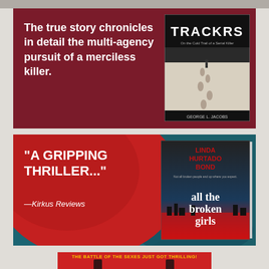[Figure (illustration): Book advertisement for TRACKRS on dark red background. Text reads: 'The true story chronicles in detail the multi-agency pursuit of a merciless killer.' Book cover shown on right with title TRACKRS and footprints in snow.]
[Figure (illustration): Book advertisement for 'all the broken girls' by Linda Hurtado Bond. Quote: '"A GRIPPING THRILLER..." —Kirkus Reviews'. Book cover shown on right. Background is teal/dark with red circle element.]
[Figure (illustration): Partial book advertisement at bottom. Red background with yellow text 'THE BATTLE OF THE SEXES JUST GOT THRILLING!' and silhouette figures.]